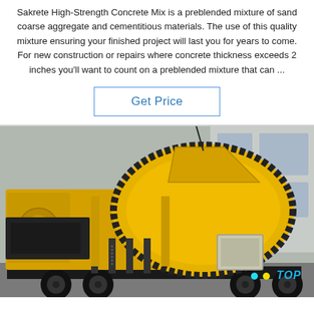Sakrete High-Strength Concrete Mix is a preblended mixture of sand coarse aggregate and cementitious materials. The use of this quality mixture ensuring your finished project will last you for years to come. For new construction or repairs where concrete thickness exceeds 2 inches you'll want to count on a preblended mixture that can ...
[Figure (other): A button labeled 'Get Price' with blue text and a rectangular border]
[Figure (photo): A large yellow concrete mixer / pump machine on a wheeled trailer, photographed outdoors in front of a building. The machine has a large rotating drum, hydraulic components, and a control box. A 'TOP' watermark appears in the bottom right corner in blue text with colorful dots.]